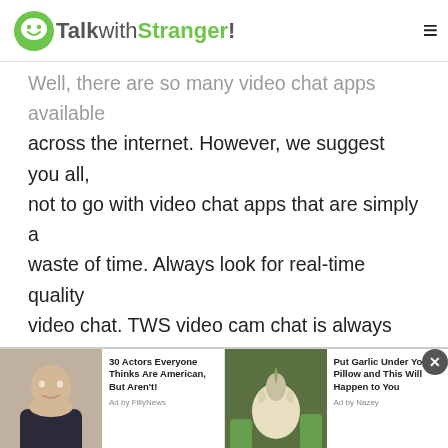TalkwithStranger!
Well, there are so many video chat apps available across the internet. However, we suggest you all, not to go with video chat apps that are simply a waste of time. Always look for real-time quality video chat. TWS video cam chat is always fun as you will never experience any distortion or inconvenience. Yes, your online video calls will not be going to be dropped or crappy. A good quality video with no registration and signup process makes your online experience amazing and of course, hassle-free. So, join free cam chat now!
[Figure (screenshot): Ad bar with two advertisements: '30 Actors Everyone Thinks Are American, But Aren't! Ad by FillyNews' with a photo of a man, and 'Put Garlic Under Your Pillow and This Will Happen to You Ad by Nazey' with a photo of garlic.]